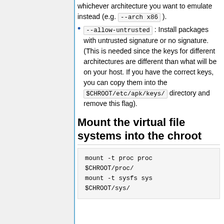whichever architecture you want to emulate instead (e.g. --arch x86 ).
--allow-untrusted : Install packages with untrusted signature or no signature. (This is needed since the keys for different architectures are different than what will be on your host. If you have the correct keys, you can copy them into the $CHROOT/etc/apk/keys/ directory and remove this flag).
Mount the virtual file systems into the chroot
mount -t proc proc
$CHROOT/proc/
mount -t sysfs sys
$CHROOT/sys/